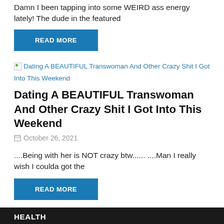Damn I been tapping into some WEIRD ass energy lately! The dude in the featured
READ MORE
[Figure (other): Broken image placeholder with link text: Dating A BEAUTIFUL Transwoman And Other Crazy Shit I Got Into This Weekend]
Dating A BEAUTIFUL Transwoman And Other Crazy Shit I Got Into This Weekend
October 26, 2021
....Being with her is NOT crazy btw...... ....Man I really wish I coulda got the
READ MORE
HEALTH